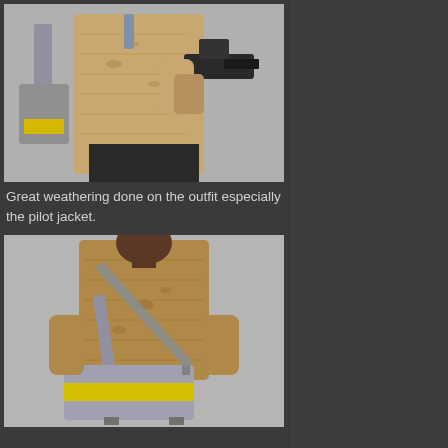[Figure (photo): Front/side view of a person wearing a tan/beige weathered pilot jacket and dark pants, holding a blaster/gun prop, with a grey and yellow bag/satchel hanging from their shoulder. Background is light grey.]
Great weathering done on the outfit especially the pilot jacket.
[Figure (photo): Back view of a person wearing a tan/brown weathered pilot jacket, with a grey and yellow crossbody messenger bag with straps and buckles visible. Background is light grey.]